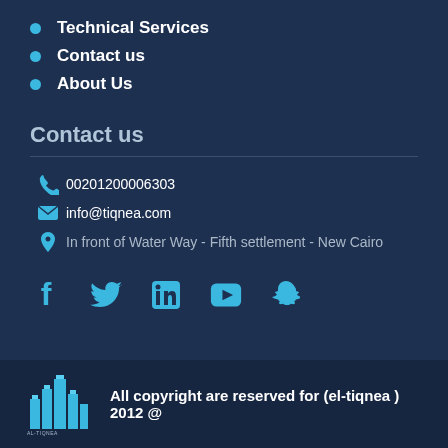Technical Services
Contact us
About Us
Contact us
00201200006303
info@tiqnea.com
In front of Water Way - Fifth settlement - New Cairo
[Figure (illustration): Social media icons: Facebook, Twitter, LinkedIn, YouTube, Snapchat]
[Figure (logo): AL-TIQNEA logo with building/city graphic]
All copyright are reserved for (el-tiqnea ) 2012 @